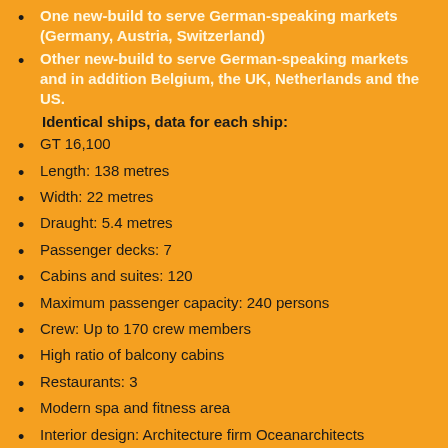One new-build to serve German-speaking markets (Germany, Austria, Switzerland)
Other new-build to serve German-speaking markets and in addition Belgium, the UK, Netherlands and the US.
Identical ships, data for each ship:
GT 16,100
Length: 138 metres
Width: 22 metres
Draught: 5.4 metres
Passenger decks: 7
Cabins and suites: 120
Maximum passenger capacity: 240 persons
Crew: Up to 170 crew members
High ratio of balcony cabins
Restaurants: 3
Modern spa and fitness area
Interior design: Architecture firm Oceanarchitects
Hapag-Lloyd Cruises is a subsidiary of TUI Group. Information on TUI Group: www.tuigroup.com
At the moment Hapag-Lloyd Expeditions fleet consist of: Bremen